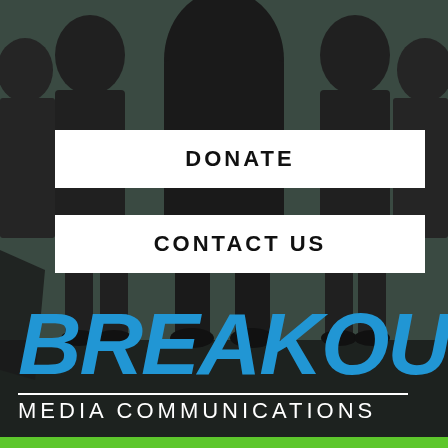[Figure (illustration): Dark teal/grey background with black silhouettes of multiple people standing, forming a crowd scene behind navigation buttons and branding text.]
DONATE
CONTACT US
BREAKOUT
MEDIA COMMUNICATIONS